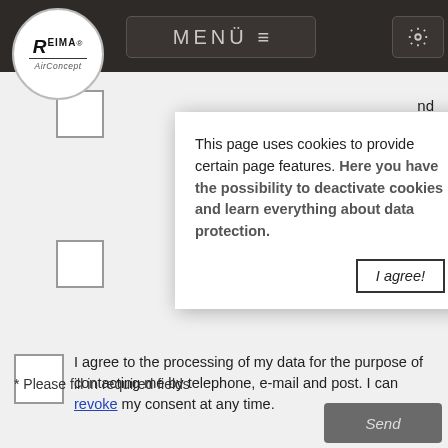[Figure (logo): Reima AirConcept logo in a white circle on dark navigation bar]
MENÜ ≡
nd
ree to
This page uses cookies to provide certain page features. Here you have the possibility to deactivate cookies and learn everything about data protection.
I agree!
I agree to the processing of my data for the purpose of contacting me by telephone, e-mail and post. I can revoke my consent at any time.
* Please fill in required fields
Send